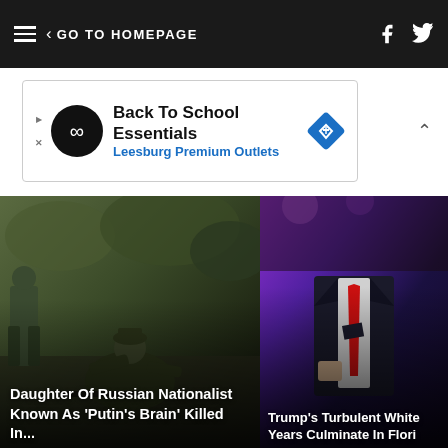GO TO HOMEPAGE
[Figure (screenshot): Advertisement banner: Back To School Essentials - Leesburg Premium Outlets]
[Figure (photo): Left news card: photo of military personnel in field; headline: Daughter Of Russian Nationalist Known As 'Putin's Brain' Killed In...]
[Figure (photo): Right news card: photo of man in suit with red tie; headline: Trump's Turbulent White Years Culminate In Flori...]